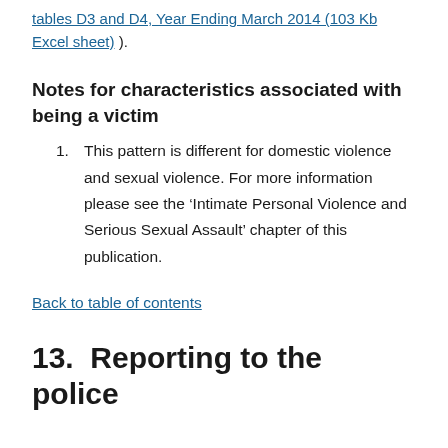tables D3 and D4, Year Ending March 2014 (103 Kb Excel sheet) ).
Notes for characteristics associated with being a victim
1. This pattern is different for domestic violence and sexual violence. For more information please see the ‘Intimate Personal Violence and Serious Sexual Assault’ chapter of this publication.
Back to table of contents
13.  Reporting to the police